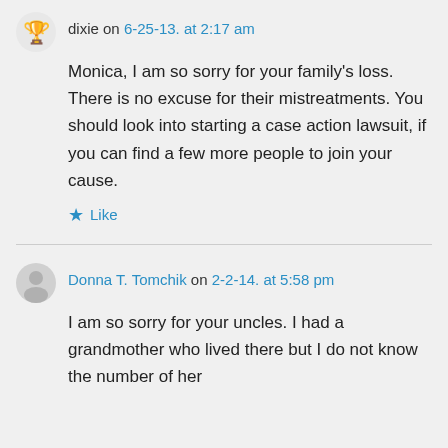dixie on 6-25-13. at 2:17 am
Monica, I am so sorry for your family's loss. There is no excuse for their mistreatments. You should look into starting a case action lawsuit, if you can find a few more people to join your cause.
Like
Donna T. Tomchik on 2-2-14. at 5:58 pm
I am so sorry for your uncles. I had a grandmother who lived there but I do not know the number of her...